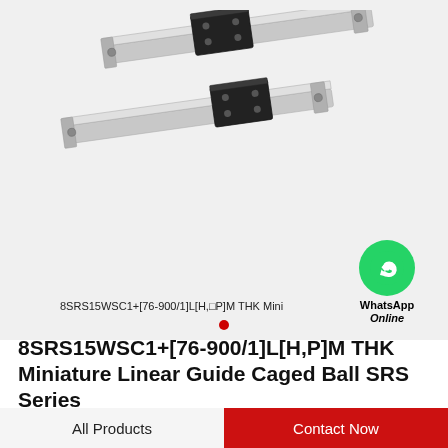[Figure (photo): Two THK miniature linear guide rails (SRS series) shown diagonally, each with a black sliding block/carriage mounted on a silver aluminum rail. The components are arranged side by side at an angle on a light gray background.]
8SRS15WSC1+[76-900/1]L[H,□P]M THK Mini
8SRS15WSC1+[76-900/1]L[H,P]M THK Miniature Linear Guide Caged Ball SRS Series
All Products   Contact Now